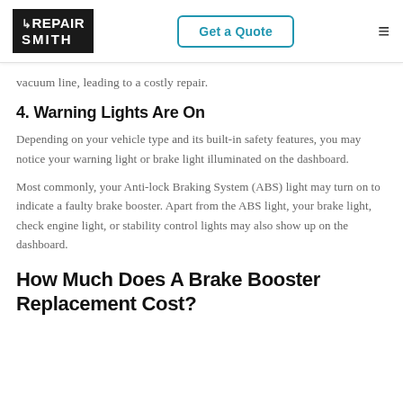RepairSmith | Get a Quote
vacuum line, leading to a costly repair.
4. Warning Lights Are On
Depending on your vehicle type and its built-in safety features, you may notice your warning light or brake light illuminated on the dashboard.
Most commonly, your Anti-lock Braking System (ABS) light may turn on to indicate a faulty brake booster. Apart from the ABS light, your brake light, check engine light, or stability control lights may also show up on the dashboard.
How Much Does A Brake Booster Replacement Cost?